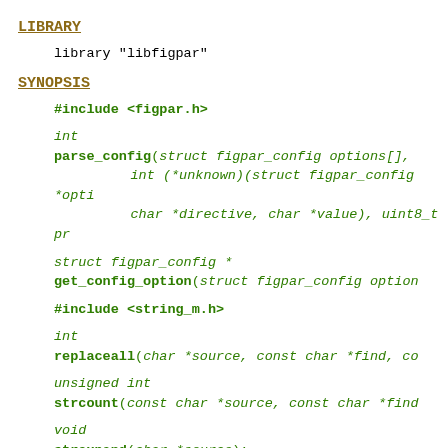LIBRARY
library "libfigpar"
SYNOPSIS
#include <figpar.h>
int
parse_config(struct figpar_config options[],
    int (*unknown)(struct figpar_config *opti
    char *directive, char *value), uint8_t pr
struct figpar_config *
get_config_option(struct figpar_config option
#include <string_m.h>
int
replaceall(char *source, const char *find, co
unsigned int
strcount(const char *source, const char *find
void
strexpand(char *source);
void
strexpandnl(char *source);